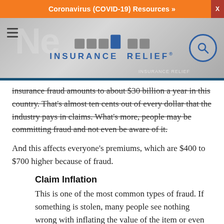Coronavirus (COVID-19) Resources »
[Figure (logo): Insurance Relief logo with colored square grid above the text INSURANCE RELIEF]
insurance fraud amounts to about $30 billion a year in this country. That's almost ten cents out of every dollar that the industry pays in claims. What's more, people may be committing fraud and not even be aware of it.
And this affects everyone's premiums, which are $400 to $700 higher because of fraud.
Claim Inflation
This is one of the most common types of fraud. If something is stolen, many people see nothing wrong with inflating the value of the item or even throwing in additional items in the claim. The reality is, such